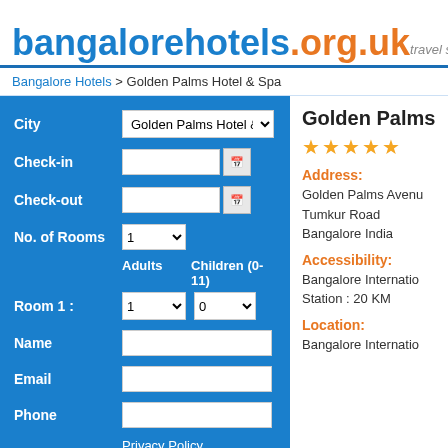bangalorehotels.org.uk travel s
Bangalore Hotels > Golden Palms Hotel & Spa
[Figure (screenshot): Hotel booking form on blue background with fields for City (Golden Palms Hotel & Spa), Check-in, Check-out, No. of Rooms, Adults, Children, Name, Email, Phone, Privacy Policy link, and SEARCH button]
Golden Palms
★★★★★
Address:
Golden Palms Avenue
Tumkur Road
Bangalore India
Accessibility:
Bangalore Internatio
Station : 20 KM
Location:
Bangalore Internatio